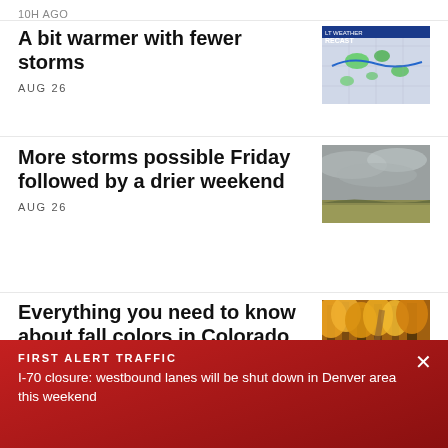10H AGO
A bit warmer with fewer storms
AUG 26
[Figure (screenshot): Weather forecast map showing radar with storm cells, blue and green tones, 'LT WEATHER RECAST' label visible]
More storms possible Friday followed by a drier weekend
AUG 26
[Figure (photo): Overcast grey sky over flat grassland/prairie, cloudy stormy day]
Everything you need to know about fall colors in Colorado
AUG 26
[Figure (photo): Forest path with golden yellow autumn aspen trees, a person walking on the trail, rocks visible]
FIRST ALERT TRAFFIC
I-70 closure: westbound lanes will be shut down in Denver area this weekend